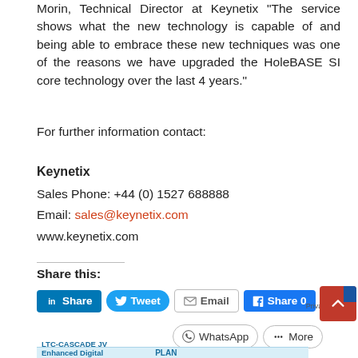Morin, Technical Director at Keynetix “The service shows what the new technology is capable of and being able to embrace these new techniques was one of the reasons we have upgraded the HoleBASE SI core technology over the last 4 years.”
For further information contact:
Keynetix
Sales Phone: +44 (0) 1527 688888
Email: sales@keynetix.com
www.keynetix.com
Share this:
[Figure (screenshot): Social sharing buttons: LinkedIn Share, Twitter Tweet, Email, Facebook Share 0, WhatsApp, More]
[Figure (screenshot): Advertisement banner: LTC-CASCADE JV Enhanced Digital Workflows with PLAN]